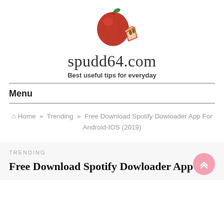[Figure (logo): Red apple with a slice next to it, illustrated style logo for spudd64.com]
spudd64.com
Best useful tips for everyday
Menu
Home » Trending » Free Download Spotify Dowloader App For Android-IOS (2019)
TRENDING
Free Download Spotify Dowloader App For